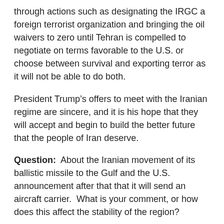through actions such as designating the IRGC a foreign terrorist organization and bringing the oil waivers to zero until Tehran is compelled to negotiate on terms favorable to the U.S. or choose between survival and exporting terror as it will not be able to do both.
President Trump’s offers to meet with the Iranian regime are sincere, and it is his hope that they will accept and begin to build the better future that the people of Iran deserve.
Question:  About the Iranian movement of its ballistic missile to the Gulf and the U.S. announcement after that that it will send an aircraft carrier.  What is your comment, or how does this affect the stability of the region?
Mr. Hook:  We had indications of heightened Iranian readiness to conduct offensive operations against U.S. forces and our interests in the Middle East, so we had indications of multiple credible threats by Iranian forces and we repositioned our military assets accordingly.
We deployed the USS Abraham Lincoln carrier strike group and a bomber task force to send a clear message to the Iranian regime,